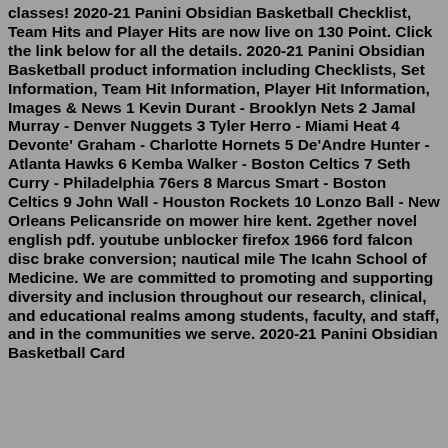classes! 2020-21 Panini Obsidian Basketball Checklist, Team Hits and Player Hits are now live on 130 Point. Click the link below for all the details. 2020-21 Panini Obsidian Basketball product information including Checklists, Set Information, Team Hit Information, Player Hit Information, Images & News 1 Kevin Durant - Brooklyn Nets 2 Jamal Murray - Denver Nuggets 3 Tyler Herro - Miami Heat 4 Devonte' Graham - Charlotte Hornets 5 De'Andre Hunter - Atlanta Hawks 6 Kemba Walker - Boston Celtics 7 Seth Curry - Philadelphia 76ers 8 Marcus Smart - Boston Celtics 9 John Wall - Houston Rockets 10 Lonzo Ball - New Orleans Pelicansride on mower hire kent. 2gether novel english pdf. youtube unblocker firefox 1966 ford falcon disc brake conversion; nautical mile The Icahn School of Medicine. We are committed to promoting and supporting diversity and inclusion throughout our research, clinical, and educational realms among students, faculty, and staff, and in the communities we serve. 2020-21 Panini Obsidian Basketball Card...